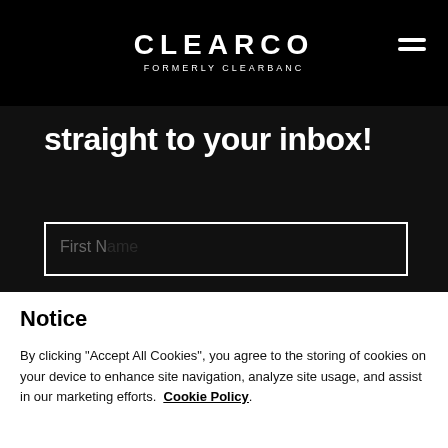CLEARCO FORMERLY CLEARBANC
straight to your inbox!
Notice
By clicking "Accept All Cookies", you agree to the storing of cookies on your device to enhance site navigation, analyze site usage, and assist in our marketing efforts. Cookie Policy.
Cookies Settings
Reject All
Accept All Cookies